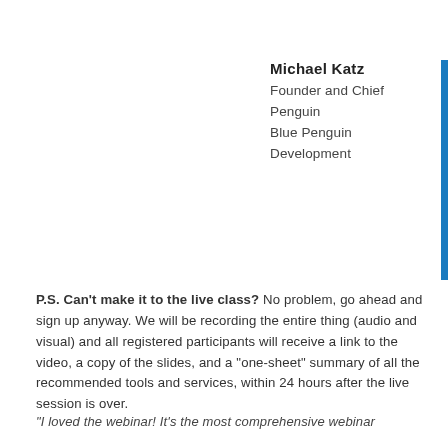Michael Katz
Founder and Chief Penguin
Blue Penguin Development
P.S. Can't make it to the live class? No problem, go ahead and sign up anyway. We will be recording the entire thing (audio and visual) and all registered participants will receive a link to the video, a copy of the slides, and a “one-sheet” summary of all the recommended tools and services, within 24 hours after the live session is over.
“I loved the webinar! It’s the most comprehensive webinar